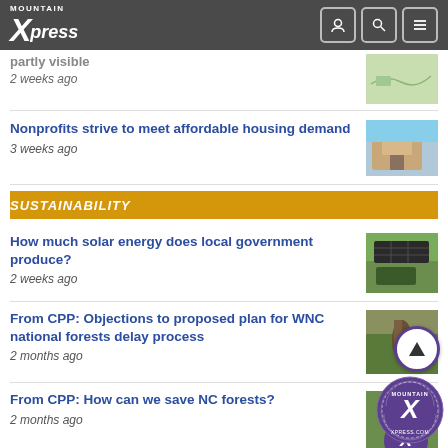Mountain Xpress
2 weeks ago
Nonprofits strive to meet affordable housing demand
3 weeks ago
SUSTAINABILITY
How much solar energy does local government produce?
2 weeks ago
From CPP: Objections to proposed plan for WNC national forests delay process
2 months ago
From CPP: How can we save NC forests?
2 months ago